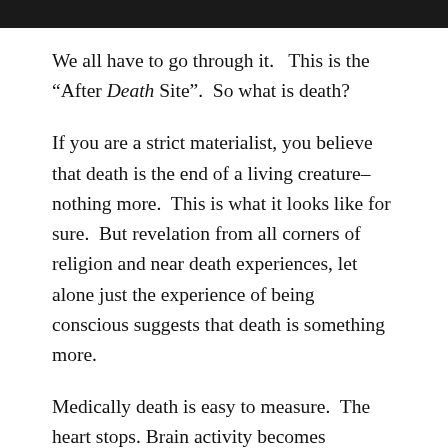[Figure (photo): Dark image strip at the top of the page, partially visible photo with dark tones]
We all have to go through it.   This is the “After Death Site”.  So what is death?
If you are a strict materialist, you believe that death is the end of a living creature–nothing more.  This is what it looks like for sure.  But revelation from all corners of religion and near death experiences, let alone just the experience of being conscious suggests that death is something more.
Medically death is easy to measure.  The heart stops. Brain activity becomes immeasurable in a short period of time.   The experience from the inside, as reported by those who went